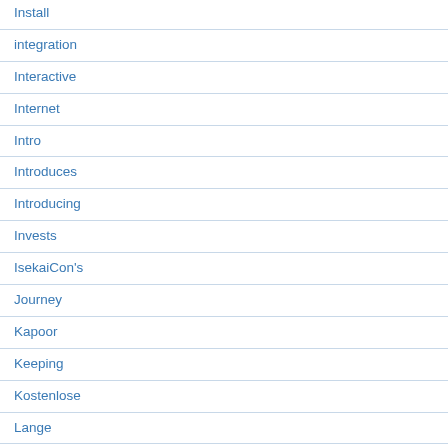Install
integration
Interactive
Internet
Intro
Introduces
Introducing
Invests
IsekaiCon's
Journey
Kapoor
Keeping
Kostenlose
Lange
launches